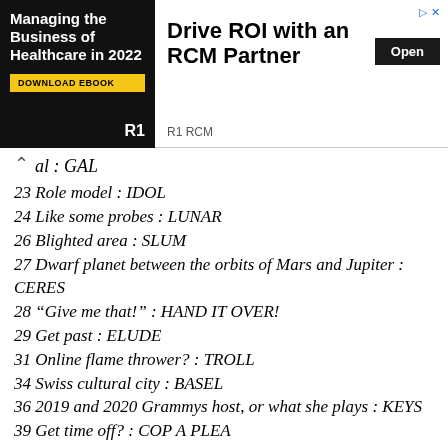[Figure (other): Advertisement banner for R1 RCM: 'Managing the Business of Healthcare in 2022 - Download Ebook' on left (dark background), 'Drive ROI with an RCM Partner' with Open button and R1 RCM advertiser label on right.]
al : GAL
23 Role model : IDOL
24 Like some probes : LUNAR
26 Blighted area : SLUM
27 Dwarf planet between the orbits of Mars and Jupiter : CERES
28 "Give me that!" : HAND IT OVER!
29 Get past : ELUDE
31 Online flame thrower? : TROLL
34 Swiss cultural city : BASEL
36 2019 and 2020 Grammys host, or what she plays : KEYS
39 Get time off? : COP A PLEA
40 Maker marketplace : ETSY
43 Not yet delivered : IN UTERO
46 Knickknack stand : ETAGERE